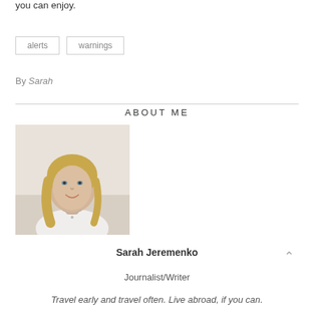you can enjoy.
alerts
warnings
By Sarah
ABOUT ME
[Figure (photo): Portrait photo of a blonde woman smiling, wearing a white sleeveless top, light background]
Sarah Jeremenko
Journalist/Writer
Travel early and travel often. Live abroad, if you can.